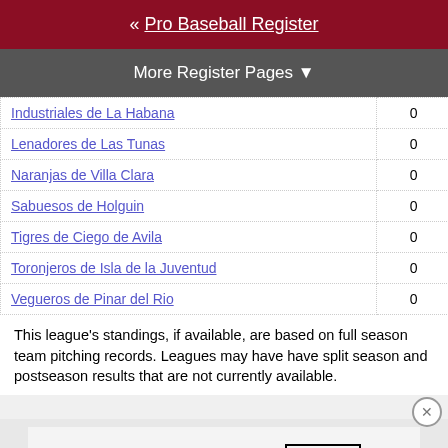« Pro Baseball Register
More Register Pages ▼
| Team |  |  |
| --- | --- | --- |
| Industriales de La Habana | 0 | 0 |
| Lenadores de Las Tunas | 0 | 0 |
| Naranjas de Villa Clara | 0 | 0 |
| Sabuesos de Holguin | 0 | 0 |
| Tigres de Ciego de Avila | 0 | 0 |
| Toronjeros de Isla de la Juventud | 0 | 0 |
| Vegueros de Pinar del Rio | 0 | 0 |
This league's standings, if available, are based on full season team pitching records. Leagues may have have split season and postseason results that are not currently available.
[Figure (photo): MAC cosmetics advertisement showing lipsticks with SHOP NOW button]